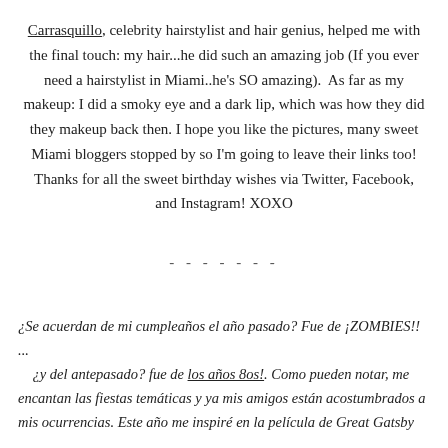Carrasquillo, celebrity hairstylist and hair genius, helped me with the final touch: my hair...he did such an amazing job (If you ever need a hairstylist in Miami..he's SO amazing).  As far as my makeup: I did a smoky eye and a dark lip, which was how they did they makeup back then. I hope you like the pictures, many sweet Miami bloggers stopped by so I'm going to leave their links too! Thanks for all the sweet birthday wishes via Twitter, Facebook, and Instagram! XOXO
-------
¿Se acuerdan de mi cumpleaños el año pasado? Fue de ¡ZOMBIES!! ... ¿y del antepasado? fue de los años 8os!. Como pueden notar, me encantan las fiestas temáticas y ya mis amigos están acostumbrados a mis ocurrencias. Este año me inspiré en la película de Great Gatsby